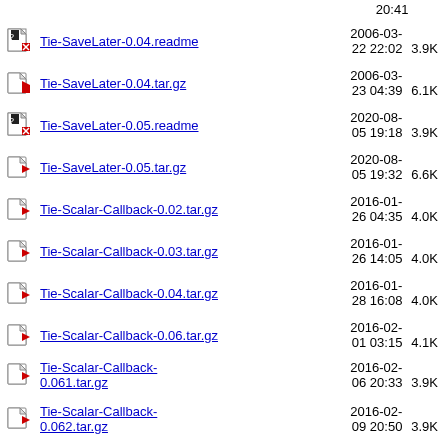Tie-SaveLater-0.04.readme  2006-03-22 22:02  3.9K
Tie-SaveLater-0.04.tar.gz  2006-03-23 04:39  6.1K
Tie-SaveLater-0.05.readme  2020-08-05 19:18  3.9K
Tie-SaveLater-0.05.tar.gz  2020-08-05 19:32  6.6K
Tie-Scalar-Callback-0.02.tar.gz  2016-01-26 04:35  4.0K
Tie-Scalar-Callback-0.03.tar.gz  2016-01-26 14:05  4.0K
Tie-Scalar-Callback-0.04.tar.gz  2016-01-28 16:08  4.0K
Tie-Scalar-Callback-0.06.tar.gz  2016-02-01 03:15  4.1K
Tie-Scalar-Callback-0.061.tar.gz  2016-02-06 20:33  3.9K
Tie-Scalar-Callback-0.062.tar.gz  2016-02-09 20:50  3.9K
Tie-Scalar-Callback-0.07.tar.gz  2016-10-01 15:03  3.9K